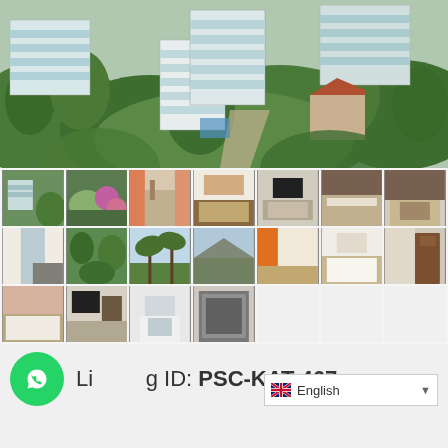[Figure (photo): Aerial view of white multi-story condominium buildings surrounded by lush tropical green vegetation]
[Figure (photo): Gallery of 18 thumbnail photos showing property interiors and exteriors: hillside view, garden, hallways, living rooms, kitchen, bedrooms, bathrooms, balconies, palm trees, mountain views]
Listing ID: PSC-KAT-467